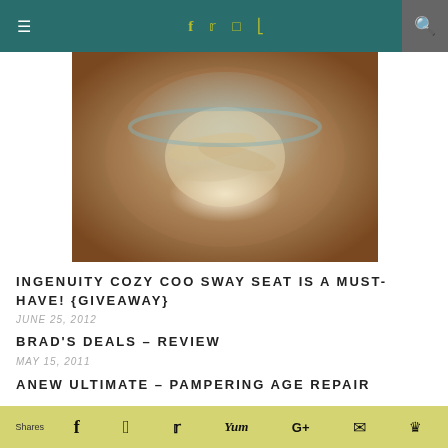≡  [social icons: f t instagram rss]  [search]
[Figure (photo): Blurred close-up photo of food items in a bowl, warm brown and cream tones]
INGENUITY COZY COO SWAY SEAT IS A MUST-HAVE! {GIVEAWAY}
JUNE 25, 2012
BRAD'S DEALS – REVIEW
MAY 15, 2011
ANEW ULTIMATE – PAMPERING AGE REPAIR
DECEMBER 20, 2011
Shares  [f] [P] [t] [Yum] [G+] [mail] [crown]